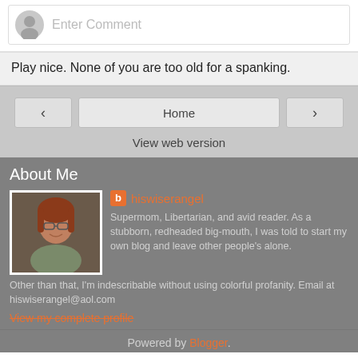[Figure (screenshot): Comment input box with avatar icon and placeholder text 'Enter Comment']
Play nice. None of you are too old for a spanking.
Home
View web version
About Me
hiswiserangel
Supermom, Libertarian, and avid reader. As a stubborn, redheaded big-mouth, I was told to start my own blog and leave other people's alone. Other than that, I'm indescribable without using colorful profanity. Email at hiswiserangel@aol.com
View my complete profile
Powered by Blogger.